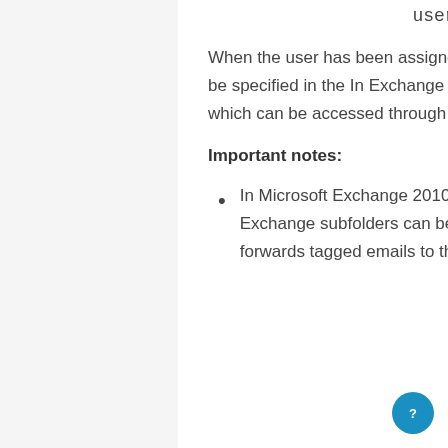user_mailboxes
When the user has been assigned the necessary rights, the user should be specified in the In Exchange mailbox subfolder action configuration, which can be accessed through the Actions tab.
Important notes:
In Microsoft Exchange 2010 and newer, moving spam to the Exchange subfolders can be achieved by creating a transport rule that forwards tagged emails to the user's Junk E-mail mailbox folder.